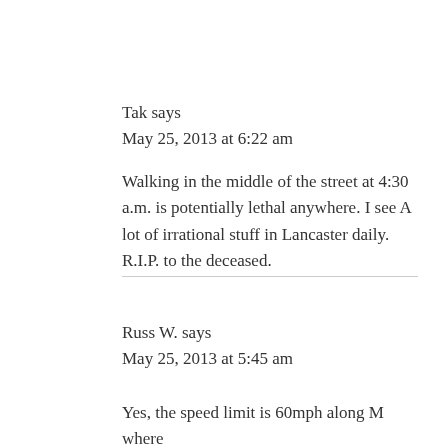Tak says
May 25, 2013 at 6:22 am
Walking in the middle of the street at 4:30 a.m. is potentially lethal anywhere. I see A lot of irrational stuff in Lancaster daily. R.I.P. to the deceased.
Russ W. says
May 25, 2013 at 5:45 am
Yes, the speed limit is 60mph along M where